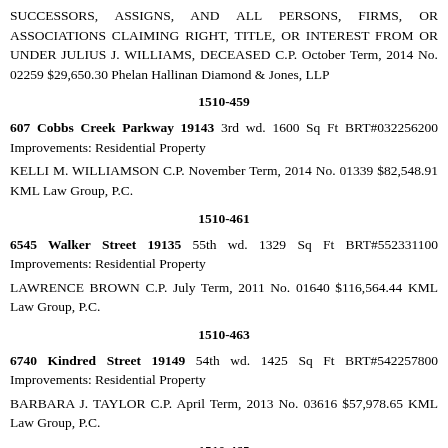SUCCESSORS, ASSIGNS, AND ALL PERSONS, FIRMS, OR ASSOCIATIONS CLAIMING RIGHT, TITLE, OR INTEREST FROM OR UNDER JULIUS J. WILLIAMS, DECEASED C.P. October Term, 2014 No. 02259 $29,650.30 Phelan Hallinan Diamond & Jones, LLP
1510-459
607 Cobbs Creek Parkway 19143 3rd wd. 1600 Sq Ft BRT#032256200 Improvements: Residential Property
KELLI M. WILLIAMSON C.P. November Term, 2014 No. 01339 $82,548.91 KML Law Group, P.C.
1510-461
6545 Walker Street 19135 55th wd. 1329 Sq Ft BRT#552331100 Improvements: Residential Property
LAWRENCE BROWN C.P. July Term, 2011 No. 01640 $116,564.44 KML Law Group, P.C.
1510-463
6740 Kindred Street 19149 54th wd. 1425 Sq Ft BRT#542257800 Improvements: Residential Property
BARBARA J. TAYLOR C.P. April Term, 2013 No. 03616 $57,978.65 KML Law Group, P.C.
1510-465